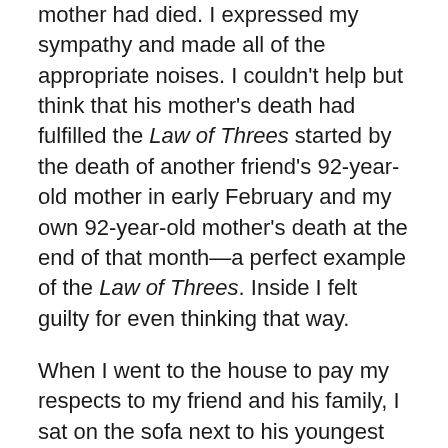mother had died. I expressed my sympathy and made all of the appropriate noises. I couldn't help but think that his mother's death had fulfilled the Law of Threes started by the death of another friend's 92-year-old mother in early February and my own 92-year-old mother's death at the end of that month—a perfect example of the Law of Threes. Inside I felt guilty for even thinking that way.
When I went to the house to pay my respects to my friend and his family, I sat on the sofa next to his youngest sister. She told me how much she would miss her mother and then paused.
“You know, Bob, I worry about the next two deaths that will follow. Who will die?”
She must have seen the look of surprise on my face because she quickly explained, “Deaths happen in threes.